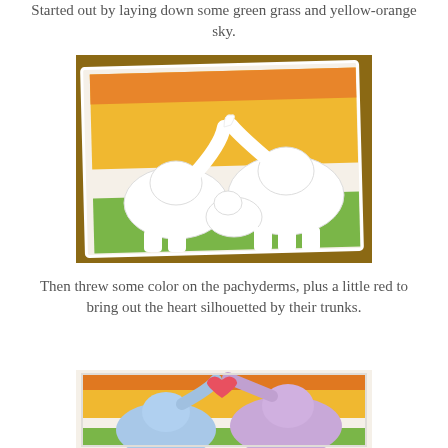Started out by laying down some green grass and yellow-orange sky.
[Figure (photo): A watercolor painting on white paper placed on a wooden table. The painting shows white elephant silhouettes on a green grass base with a yellow-orange sky background. Two adult elephants face each other with trunks raised forming a heart shape, with a baby elephant between them.]
Then threw some color on the pachyderms, plus a little red to bring out the heart silhouetted by their trunks.
[Figure (photo): A partially visible watercolor painting showing colorful elephants — blue/lavender on left, purple/violet on right — with a red/pink heart shape formed by their raised trunks, set against a yellow-orange sky background.]